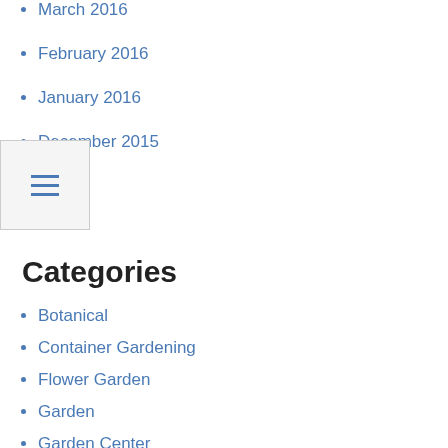March 2016
February 2016
January 2016
December 2015
Categories
Botanical
Container Gardening
Flower Garden
Garden
Garden Center
Garden Ideas
Garden Store
Garden Supplies
Gardenia
Gardening
General Article